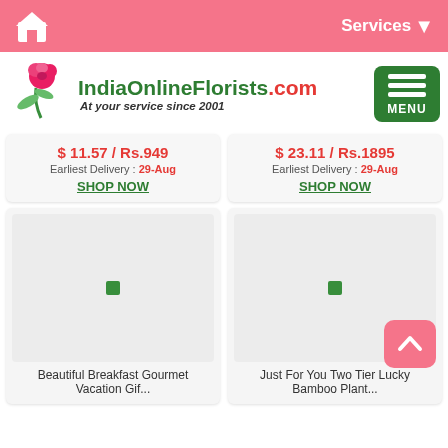[Figure (screenshot): Pink top navigation bar with a home icon on the left and a Services dropdown on the right]
[Figure (logo): IndiaOnlineFlorists.com logo with rose illustration and tagline 'At your service since 2001', and a green MENU button on the right]
$ 11.57 / Rs.949
Earliest Delivery : 29-Aug
SHOP NOW
$ 23.11 / Rs.1895
Earliest Delivery : 29-Aug
SHOP NOW
[Figure (photo): Product image placeholder for Beautiful Breakfast Gourmet Vacation Gif...]
[Figure (photo): Product image placeholder for Just For You Two Tier Lucky Bamboo Plant...]
Beautiful Breakfast Gourmet Vacation Gif...
Just For You Two Tier Lucky Bamboo Plant...